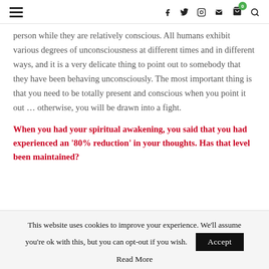≡  f  🐦  📷  ✉  🛒(0)  🔍
person while they are relatively conscious. All humans exhibit various degrees of unconsciousness at different times and in different ways, and it is a very delicate thing to point out to somebody that they have been behaving unconsciously. The most important thing is that you need to be totally present and conscious when you point it out … otherwise, you will be drawn into a fight.
When you had your spiritual awakening, you said that you had experienced an '80% reduction' in your thoughts. Has that level been maintained?
This website uses cookies to improve your experience. We'll assume you're ok with this, but you can opt-out if you wish.
Read More